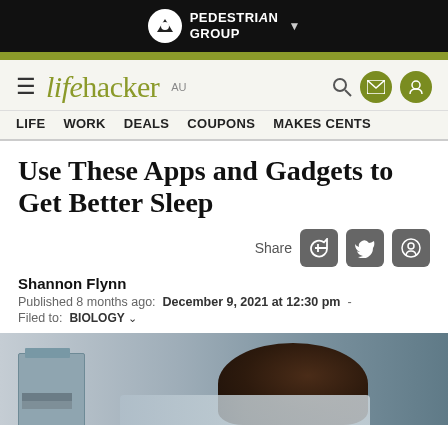PEDESTRIAN GROUP
lifehacker AU — LIFE  WORK  DEALS  COUPONS  MAKES CENTS
Use These Apps and Gadgets to Get Better Sleep
Share
Shannon Flynn
Published 8 months ago:  December 9, 2021 at 12:30 pm  -
Filed to:  BIOLOGY
[Figure (photo): Person lying in bed sleeping, nightstand visible on left side, soft ambient bedroom lighting]